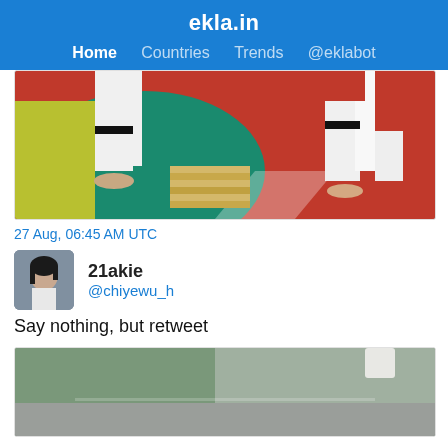ekla.in
Home  Countries  Trends  @eklabot
[Figure (photo): Photo showing legs of two people in white taekwondo uniforms with black belts standing on a colorful martial arts mat, with wooden boards stacked on the floor between them.]
27 Aug, 06:45 AM UTC
21akie
@chiyewu_h
Say nothing, but retweet
[Figure (photo): Partially visible outdoor photo, blurred, showing a green area and what appears to be pavement.]